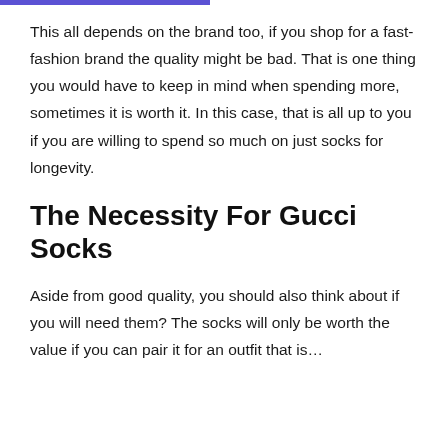This all depends on the brand too, if you shop for a fast-fashion brand the quality might be bad. That is one thing you would have to keep in mind when spending more, sometimes it is worth it. In this case, that is all up to you if you are willing to spend so much on just socks for longevity.
The Necessity For Gucci Socks
Aside from good quality, you should also think about if you will need them? The socks will only be worth the value if you can pair it for an outfit that is...